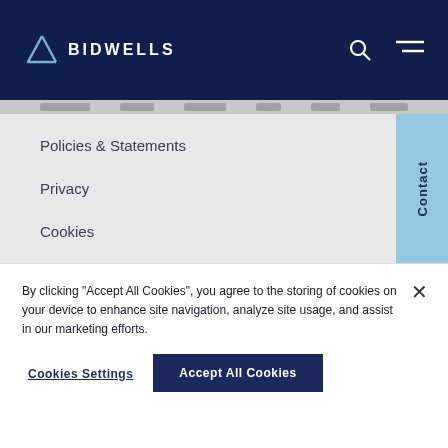BIDWELLS
Policies & Statements
Privacy
Cookies
Terms of use
Contact
By clicking "Accept All Cookies", you agree to the storing of cookies on your device to enhance site navigation, analyze site usage, and assist in our marketing efforts.
Cookies Settings
Accept All Cookies